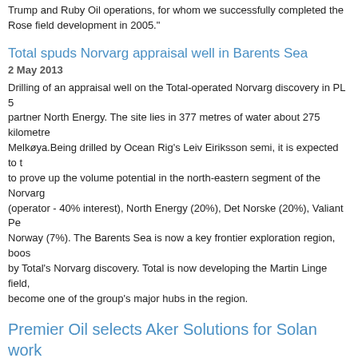Trump and Ruby Oil operations, for whom we successfully completed the Rose field development in 2005."
Total spuds Norvarg appraisal well in Barents Sea
2 May 2013
Drilling of an appraisal well on the Total-operated Norvarg discovery in PL 5 partner North Energy. The site lies in 377 metres of water about 275 kilometres Melkøya.Being drilled by Ocean Rig's Leiv Eiriksson semi, it is expected to t to prove up the volume potential in the north-eastern segment of the Norvarg (operator - 40% interest), North Energy (20%), Det Norske (20%), Valiant Pe Norway (7%). The Barents Sea is now a key frontier exploration region, boos by Total's Norvarg discovery. Total is now developing the Martin Linge field, become one of the group's major hubs in the region.
Premier Oil selects Aker Solutions for Solan work
11 April 2013
Aker Solutions has won a £30m ($46m) contract to provide hook-up, commis Premier Oil at the operator's Solan field development, west of Shetland. The b two subsea injection wells tied back to a fixed production platform located in kind west of Shetland. The platform, which will not be permanently manned, before being exported via an oil-offloading system to shuttle tankers. The cont one-year extension options. Work will be led from Aker Solutions in Aberdee The UK government's Department of Energy and Climate Change approved P Once brought online, Solan is expected to produce 40 million barrels of oil at
New Arctic group formed